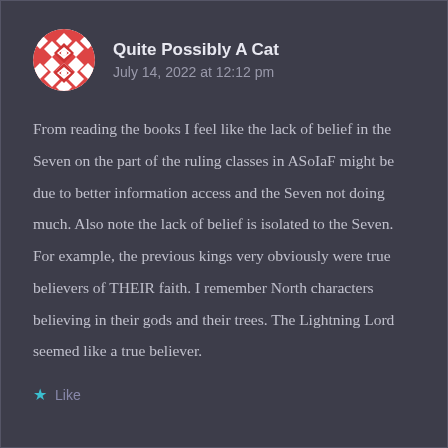[Figure (illustration): Circular avatar with red and white geometric/diamond pattern, user icon for 'Quite Possibly A Cat']
Quite Possibly A Cat
July 14, 2022 at 12:12 pm
From reading the books I feel like the lack of belief in the Seven on the part of the ruling classes in ASoIaF might be due to better information access and the Seven not doing much. Also note the lack of belief is isolated to the Seven. For example, the previous kings very obviously were true believers of THEIR faith. I remember North characters believing in their gods and their trees. The Lightning Lord seemed like a true believer.
Like